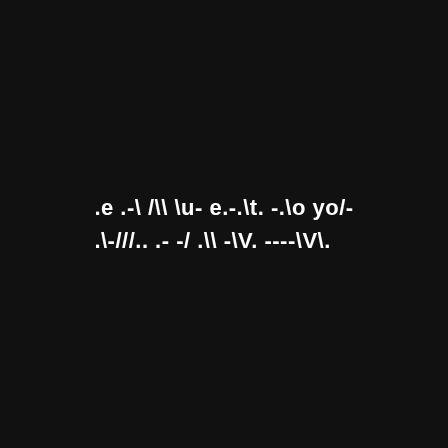.e .-\ /\\ \u- e.-.\t. -.\o yo/-
.\-///.. .- -/ .\\ -\V. ----\V\.